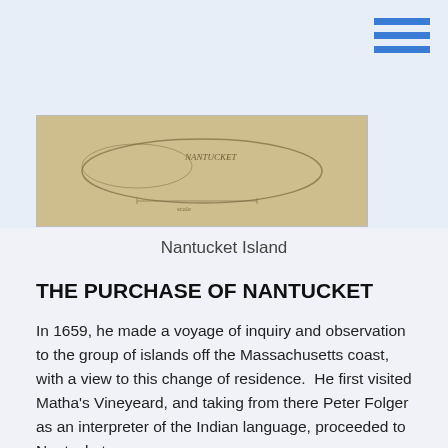[Figure (map): Old map of Nantucket Island showing coastal outline and geographical features]
Nantucket Island
THE PURCHASE OF NANTUCKET
In 1659, he made a voyage of inquiry and observation to the group of islands off the Massachusetts coast, with a view to this change of residence.  He first visited Matha's Vineyeard, and taking from there Peter Folger as an interpreter of the Indian language, proceeded to Nantucket.
He along with Thomas Macy led a group of nine investors that bought Nantucket Island from Thomas Mayhew for thirty pounds and two beaver hats made by his son, Tristram JR .  Coffin was among the  prime